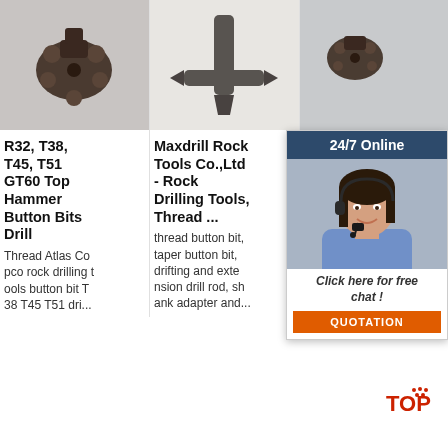[Figure (photo): Close-up photo of a dark-colored top hammer button bit drill head on grey background]
[Figure (photo): Photo of a dark metallic chisel or cross-type drill bit on white background]
[Figure (photo): Photo of a small dark rock drilling bit on grey background]
R32, T38, T45, T51 GT60 Top Hammer Button Bits Drill
Maxdrill Rock Tools Co.,Ltd - Rock Drilling Tools, Thread ...
Rock Drilling And Anchor Bits - Www...
Thread Atlas Copco rock drilling tools button bit T38 T45 T51 dri...
thread button bit, taper button bit, drifting and extension drill rod, shank adapter and...
2017-11-20 · Industrial grade drilling steel for commercial rock drilling. Sales and Ins...
[Figure (photo): Chat widget overlay showing a female customer service agent with headset, 24/7 Online header, Click here for free chat! text, and QUOTATION button]